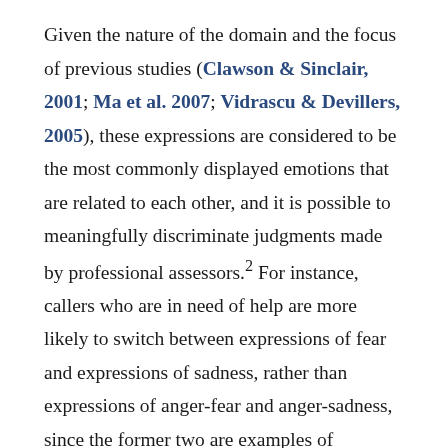Given the nature of the domain and the focus of previous studies (Clawson & Sinclair, 2001; Ma et al. 2007; Vidrascu & Devillers, 2005), these expressions are considered to be the most commonly displayed emotions that are related to each other, and it is possible to meaningfully discriminate judgments made by professional assessors.² For instance, callers who are in need of help are more likely to switch between expressions of fear and expressions of sadness, rather than expressions of anger-fear and anger-sadness, since the former two are examples of supplication emotions. Switching between anger-fear and anger-sadness is thus less expected as it implies a relation between a confrontation and supplication emotion. The measurements followed a Likert-convention,